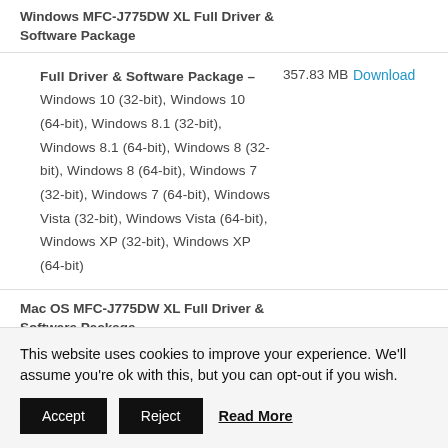Windows MFC-J775DW XL Full Driver & Software Package
Full Driver & Software Package – Windows 10 (32-bit), Windows 10 (64-bit), Windows 8.1 (32-bit), Windows 8.1 (64-bit), Windows 8 (32-bit), Windows 8 (64-bit), Windows 7 (32-bit), Windows 7 (64-bit), Windows Vista (32-bit), Windows Vista (64-bit), Windows XP (32-bit), Windows XP (64-bit) | 357.83 MB | Download
Mac OS MFC-J775DW XL Full Driver & Software Package
This website uses cookies to improve your experience. We'll assume you're ok with this, but you can opt-out if you wish.